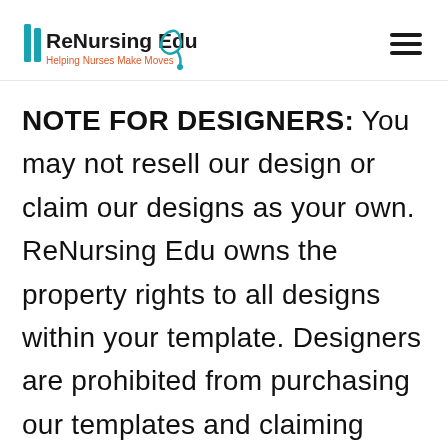ReNursing Edu — Helping Nurses Make Moves
NOTE FOR DESIGNERS: You may not resell our design or claim our designs as your own. ReNursing Edu owns the property rights to all designs within your template. Designers are prohibited from purchasing our templates and claiming them as their own work and promoting them as their original design work. If another